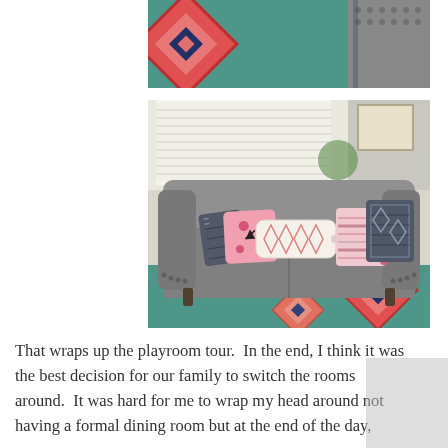[Figure (photo): Close-up cropped photo of a colorful teal/turquoise rug with a geometric diamond pattern in red, pink, and dark blue, with part of a studded sofa visible at top right edge.]
[Figure (photo): Photo of a gray velvet sofa with rolled arms and nailhead trim, decorated with multiple decorative pillows in pink, white, and dark patterned fabrics. The sofa sits on a colorful teal rug with geometric diamond patterns. A window with white blinds is visible behind the sofa.]
That wraps up the playroom tour.  In the end, I think it was the best decision for our family to switch the rooms around.  It was hard for me to wrap my head around not having a formal dining room but at the end of the day,